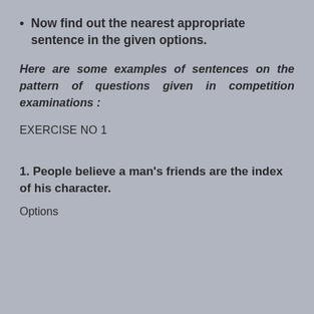Now find out the nearest appropriate sentence in the given options.
Here are some examples of sentences on the pattern of questions given in competition examinations :
EXERCISE NO 1
1. People believe a man's friends are the index of his character.
Options